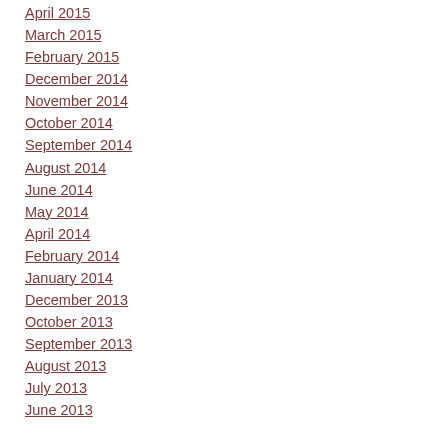April 2015
March 2015
February 2015
December 2014
November 2014
October 2014
September 2014
August 2014
June 2014
May 2014
April 2014
February 2014
January 2014
December 2013
October 2013
September 2013
August 2013
July 2013
June 2013